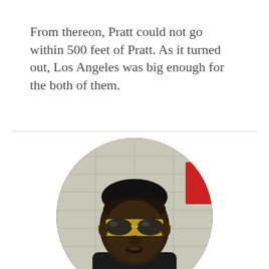From thereon, Pratt could not go within 500 feet of Pratt. As it turned out, Los Angeles was big enough for the both of them.
[Figure (photo): Circular cropped photo of a man wearing gold aviator sunglasses and a black shirt, with a subtitle bar at the bottom reading: on't MAKE him take off his sunglasse]